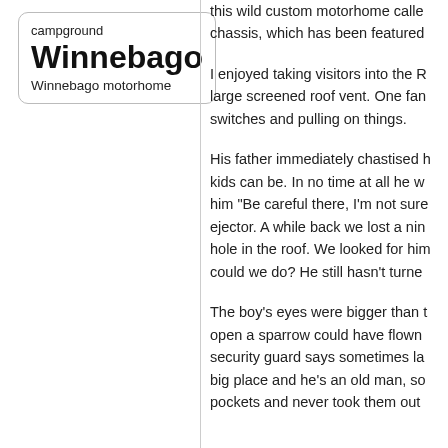campground Winnebago
Winnebago motorhome
this wild custom motorhome called chassis, which has been featured
I enjoyed taking visitors into the R large screened roof vent. One fan switches and pulling on things.
His father immediately chastised h kids can be. In no time at all he w him "Be careful there, I'm not sure ejector. A while back we lost a nin hole in the roof. We looked for him could we do? He still hasn't turne
The boy's eyes were bigger than t open a sparrow could have flown security guard says sometimes la big place and he's an old man, so pockets and never took them out